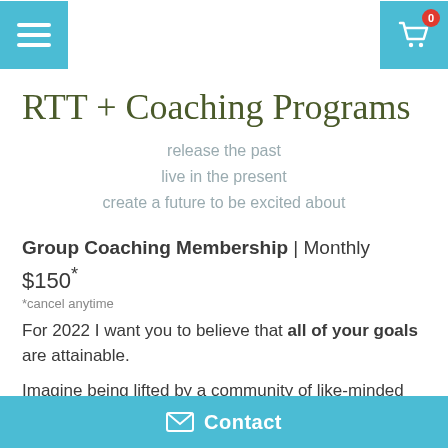[Figure (other): Navigation bar with teal hamburger menu button on left and teal shopping cart button with red badge showing '0' on right]
RTT + Coaching Programs
release the past
live in the present
create a future to be excited about
Group Coaching Membership | Monthly
$150*
*cancel anytime
For 2022 I want you to believe that all of your goals are attainable.
Imagine being lifted by a community of like-minded
Contact